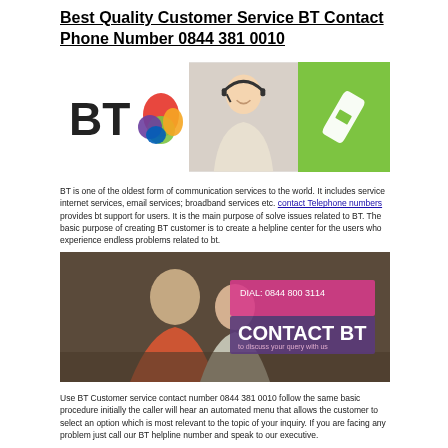Best Quality Customer Service BT Contact Phone Number 0844 381 0010
[Figure (illustration): Composite image: BT logo on left, female customer service representative with headset in center, green background with white phone handset icon on right]
BT is one of the oldest form of communication services to the world. It includes service internet services, email services; broadband services etc. contact Telephone numbers provides bt support for users. It is the main purpose of solve issues related to BT. The basic purpose of creating BT customer is to create a helpline center for the users who experience endless problems related to bt.
[Figure (photo): Photo of a couple sitting on a sofa, with an overlay showing 'DIAL: 0844 800 3114' and 'CONTACT BT' text on a pink/magenta background panel]
Use BT Customer service contact number 0844 381 0010 follow the same basic procedure initially the caller will hear an automated menu that allows the customer to select an option which is most relevant to the topic of your inquiry. If you are facing any problem just call our BT helpline number and speak to our executive.